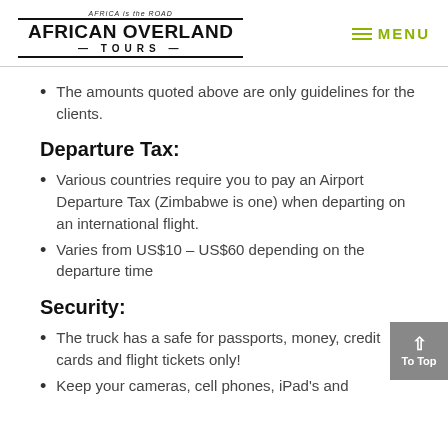AFRICA is the ROAD | AFRICAN OVERLAND TOURS | MENU
The amounts quoted above are only guidelines for the clients.
Departure Tax:
Various countries require you to pay an Airport Departure Tax (Zimbabwe is one) when departing on an international flight.
Varies from US$10 – US$60 depending on the departure time
Security:
The truck has a safe for passports, money, credit cards and flight tickets only!
Keep your cameras, cell phones, iPad's and